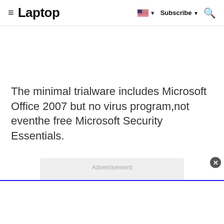≡ Laptop  🇺🇸 ▼  Subscribe ▼  🔍
The minimal trialware includes Microsoft Office 2007 but no virus program,not eventhe free Microsoft Security Essentials.
[Figure (other): Advertisement placeholder box with light gray background]